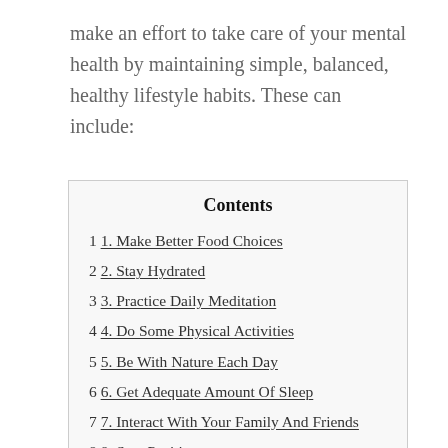make an effort to take care of your mental health by maintaining simple, balanced, healthy lifestyle habits. These can include:
Contents
1 1. Make Better Food Choices
2 2. Stay Hydrated
3 3. Practice Daily Meditation
4 4. Do Some Physical Activities
5 5. Be With Nature Each Day
6 6. Get Adequate Amount Of Sleep
7 7. Interact With Your Family And Friends
8 8. Stay Positive
9 Bottom Line